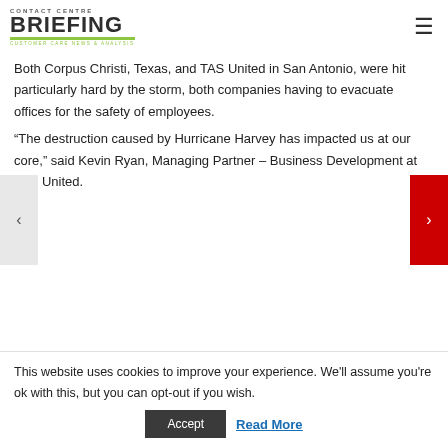CONTACT CENTRE BRIEFING
Both Corpus Christi, Texas, and TAS United in San Antonio, were hit particularly hard by the storm, both companies having to evacuate offices for the safety of employees.
“The destruction caused by Hurricane Harvey has impacted us at our core,” said Kevin Ryan, Managing Partner – Business Development at TAS United.
This website uses cookies to improve your experience. We’ll assume you’re ok with this, but you can opt-out if you wish.
Accept | Read More